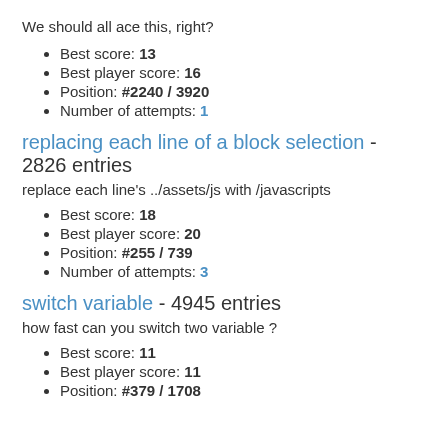We should all ace this, right?
Best score: 13
Best player score: 16
Position: #2240 / 3920
Number of attempts: 1
replacing each line of a block selection - 2826 entries
replace each line's ../assets/js with /javascripts
Best score: 18
Best player score: 20
Position: #255 / 739
Number of attempts: 3
switch variable - 4945 entries
how fast can you switch two variable ?
Best score: 11
Best player score: 11
Position: #379 / 1708